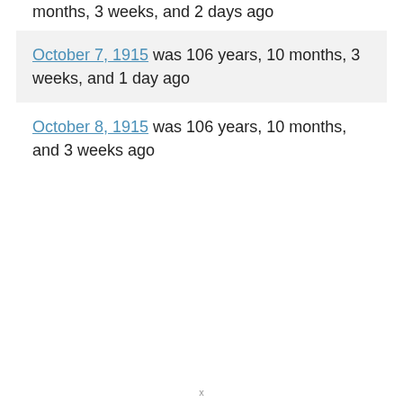months, 3 weeks, and 2 days ago
October 7, 1915 was 106 years, 10 months, 3 weeks, and 1 day ago
October 8, 1915 was 106 years, 10 months, and 3 weeks ago